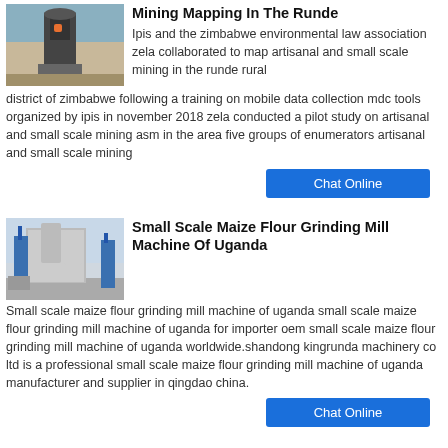Mining Mapping In The Runde
[Figure (photo): Industrial mining or milling machine inside a factory/warehouse setting]
Ipis and the zimbabwe environmental law association zela collaborated to map artisanal and small scale mining in the runde rural district of zimbabwe following a training on mobile data collection mdc tools organized by ipis in november 2018 zela conducted a pilot study on artisanal and small scale mining asm in the area five groups of enumerators artisanal and small scale mining
Chat Online
Small Scale Maize Flour Grinding Mill Machine Of Uganda
[Figure (photo): Large industrial maize flour grinding mill machine with blue structural components outdoors]
Small scale maize flour grinding mill machine of uganda small scale maize flour grinding mill machine of uganda for importer oem small scale maize flour grinding mill machine of uganda worldwide.shandong kingrunda machinery co ltd is a professional small scale maize flour grinding mill machine of uganda manufacturer and supplier in qingdao china.
Chat Online